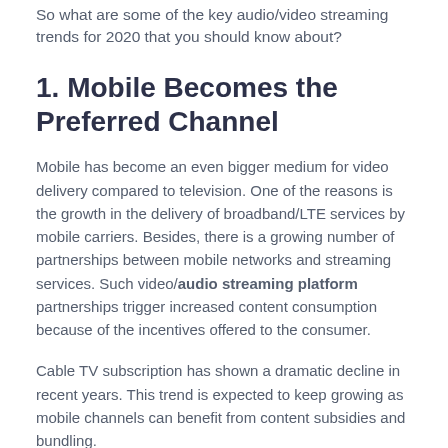So what are some of the key audio/video streaming trends for 2020 that you should know about?
1. Mobile Becomes the Preferred Channel
Mobile has become an even bigger medium for video delivery compared to television. One of the reasons is the growth in the delivery of broadband/LTE services by mobile carriers. Besides, there is a growing number of partnerships between mobile networks and streaming services. Such video/audio streaming platform partnerships trigger increased content consumption because of the incentives offered to the consumer.
Cable TV subscription has shown a dramatic decline in recent years. This trend is expected to keep growing as mobile channels can benefit from content subsidies and bundling.